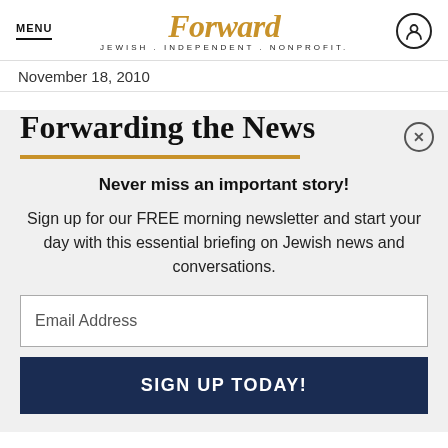MENU | Forward JEWISH . INDEPENDENT . NONPROFIT.
November 18, 2010
Forwarding the News
Never miss an important story!
Sign up for our FREE morning newsletter and start your day with this essential briefing on Jewish news and conversations.
Email Address
SIGN UP TODAY!